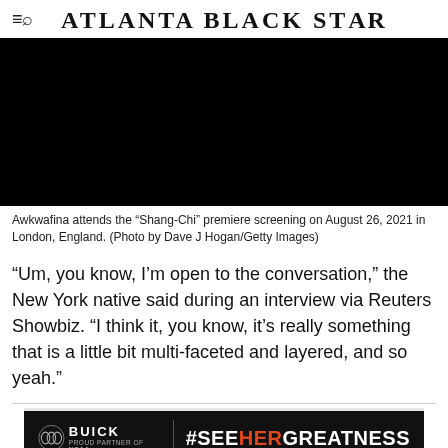Atlanta Black Star
[Figure (photo): Black image area representing a photo of Awkwafina at the Shang-Chi premiere screening]
Awkwafina attends the “Shang-Chi” premiere screening on August 26, 2021 in London, England. (Photo by Dave J Hogan/Getty Images)
“Um, you know, I’m open to the conversation,” the New York native said during an interview via Reuters Showbiz. “I think it, you know, it’s really something that is a little bit multi-faceted and layered, and so yeah.”
[Figure (other): Buick advertisement banner: BUICK | #SEEHERGREATNESS. Proud Partner of NCAA.]